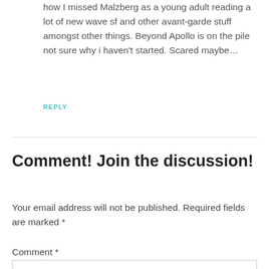how I missed Malzberg as a young adult reading a lot of new wave sf and other avant-garde stuff amongst other things. Beyond Apollo is on the pile not sure why i haven't started. Scared maybe…
REPLY
Comment! Join the discussion!
Your email address will not be published. Required fields are marked *
Comment *